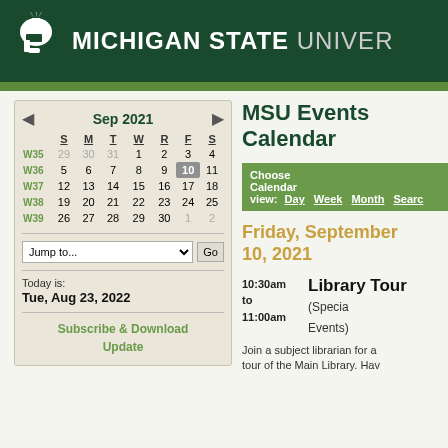MICHIGAN STATE UNIVERSITY
MSU Events Calendar
[Figure (other): September 2021 mini calendar with week numbers W35-W39, showing dates 29 Aug - 2 Oct. Date 10 is highlighted. Navigation arrows for previous/next month.]
Choose Calendar view: Day  Week  Month  Search
Friday, September 10, 2021
10:30am to 11:00am  Library Tour (Special Events)
Join a subject librarian for a tour of the Main Library. Hav...
Today is: Tue, Aug 23, 2022
Subscribe & Download Update